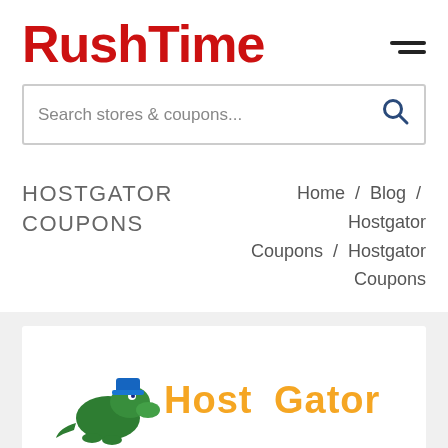RushTime
Search stores & coupons...
HOSTGATOR COUPONS
Home / Blog / Hostgator Coupons / Hostgator Coupons
[Figure (logo): HostGator logo with blue alligator mascot and yellow/orange 'HostGator' text, partially visible at bottom of page]